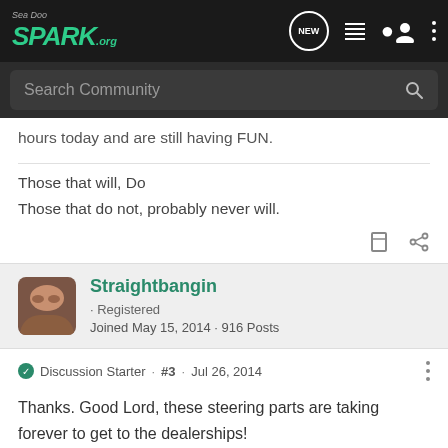Sea-Doo Spark.org — NEW (nav icon) — menu icon — user icon — more icon
Search Community
hours today and are still having FUN.
Those that will, Do
Those that do not, probably never will.
Straightbangin · Registered
Joined May 15, 2014 · 916 Posts
Discussion Starter · #3 · Jul 26, 2014
Thanks. Good Lord, these steering parts are taking forever to get to the dealerships!